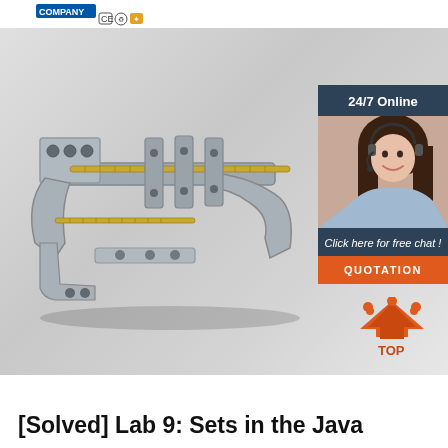[Figure (logo): Company logo with CE, recycling and quality certification icons]
[Figure (photo): Metal mechanical clamp/fixation device with gold threaded rods on white background, overlaid with a 24/7 online chat widget showing a female agent and a QUOTATION button]
[Figure (other): TOP navigation button with orange triangle/arrow icon]
[Solved] Lab 9: Sets in the Java